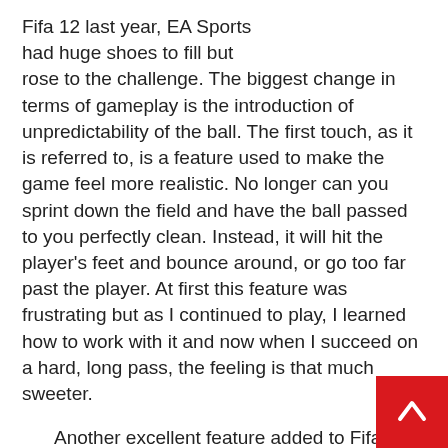Fifa 12 last year, EA Sports had huge shoes to fill but rose to the challenge. The biggest change in terms of gameplay is the introduction of unpredictability of the ball. The first touch, as it is referred to, is a feature used to make the game feel more realistic. No longer can you sprint down the field and have the ball passed to you perfectly clean. Instead, it will hit the player's feet and bounce around, or go too far past the player. At first this feature was frustrating but as I continued to play, I learned how to work with it and now when I succeed on a hard, long pass, the feeling is that much sweeter.
Another excellent feature added to Fifa 13 is match day and updating rosters. Match day is the mode that lets you play live matches that are being played during that exact day and time. The constantly updating rosters make the match day even more realistic, since it gives you the roster of how the te... playing that day and not just the best players on the tea... This is a great feature for the authentic freaks out there, but if...